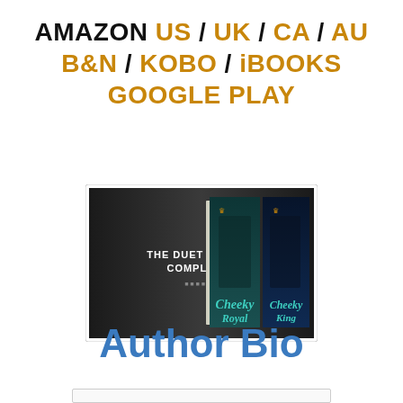AMAZON US / UK / CA / AU B&N / KOBO / iBOOKS GOOGLE PLAY
[Figure (photo): Book advertisement image showing two romance novel book covers ('Cheeky Royal' and 'Cheeky King') against a dark background with text 'THE DUET IS NOW COMPLETE' and store icons]
Author Bio